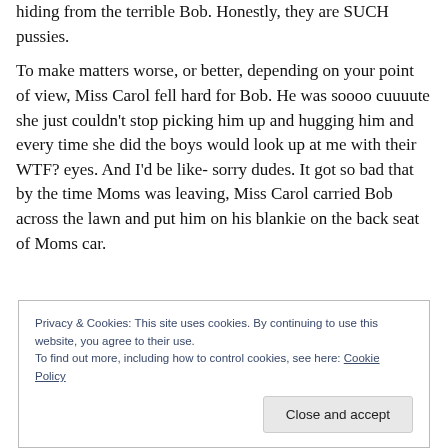hiding from the terrible Bob. Honestly, they are SUCH pussies.
To make matters worse, or better, depending on your point of view, Miss Carol fell hard for Bob. He was soooo cuuuute she just couldn't stop picking him up and hugging him and every time she did the boys would look up at me with their WTF? eyes. And I'd be like- sorry dudes. It got so bad that by the time Moms was leaving, Miss Carol carried Bob across the lawn and put him on his blankie on the back seat of Moms car.
Privacy & Cookies: This site uses cookies. By continuing to use this website, you agree to their use. To find out more, including how to control cookies, see here: Cookie Policy
Close and accept